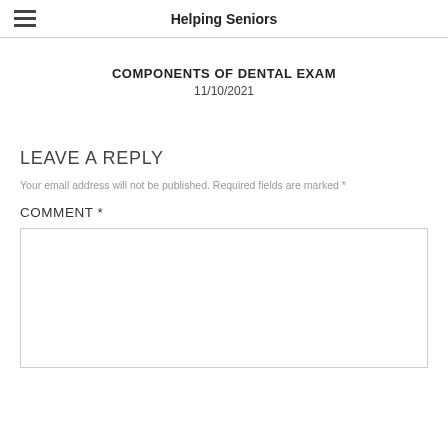Helping Seniors
COMPONENTS OF DENTAL EXAM
11/10/2021
LEAVE A REPLY
Your email address will not be published. Required fields are marked *
COMMENT *